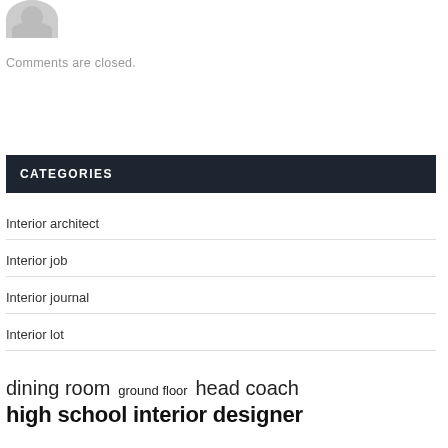[Figure (illustration): Gray silhouette avatar icon showing head and shoulders]
Comments are closed.
CATEGORIES
Interior architect
Interior job
Interior journal
Interior lot
dining room  ground floor  head coach  high school  interior designer